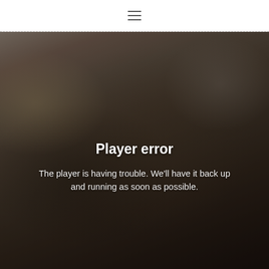≡
[Figure (photo): A man dancing or playing with a child inside a home. The image is partially obscured/blurred with a dark overlay showing a player error message overlay.]
Player error
The player is having trouble. We'll have it back up and running as soon as possible.